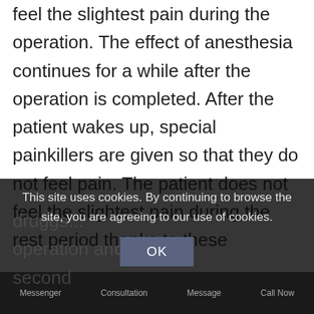feel the slightest pain during the operation. The effect of anesthesia continues for a while after the operation is completed. After the patient wakes up, special painkillers are given so that they do not feel pain. The patient does not feel the slightest pain during the rest period thanks to these
This site uses cookies. By continuing to browse the site, you are agreeing to our use of cookies.
operation an... ...second
Messenger   Consultation   Message   Call Now